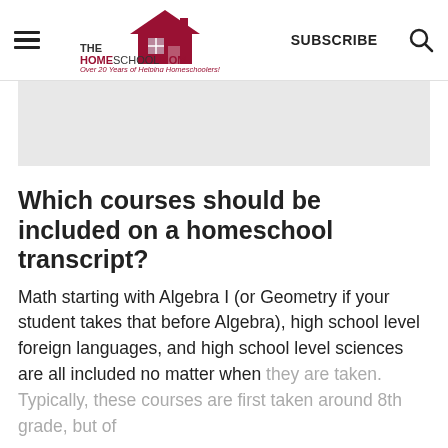THE HOMESCHOOL MOM — Over 20 Years of Helping Homeschoolers! | SUBSCRIBE
[Figure (other): Gray advertisement banner placeholder]
Which courses should be included on a homeschool transcript?
Math starting with Algebra I (or Geometry if your student takes that before Algebra), high school level foreign languages, and high school level sciences are all included no matter when they are taken. Typically, these courses are first taken around 8th grade, but of